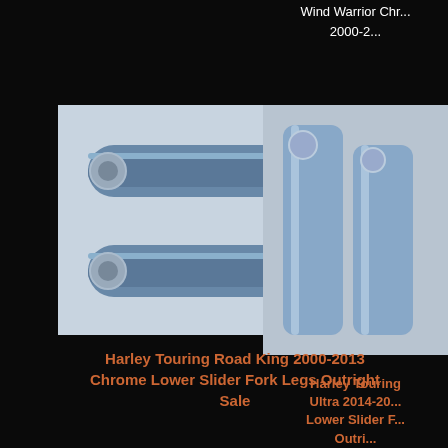Wind Warrior Chr... 2000-2...
[Figure (photo): Chrome Lower Slider Fork Legs product photo - two cylindrical fork legs shown]
[Figure (photo): Harley Touring Ultra fork legs product photo - partially visible]
Harley Touring Road King 2000-2013 Chrome Lower Slider Fork Legs Outright Sale
MSRP: $350.00
Price: Call for a personalized quote or Exchange price!
Quantity: 1
ADD TO CART
MORE INFO
Harley Touring Ultra 2014-20... Lower Slider F... Outri...
MSRP: $3...
Price: $3...
You Save: $60...
Quantity:
ADD TO C...
MORE I...
[Figure (photo): Chrome wheel/hub product photo bottom left]
[Figure (photo): Chrome wheel/hub product photo bottom right - partially visible]